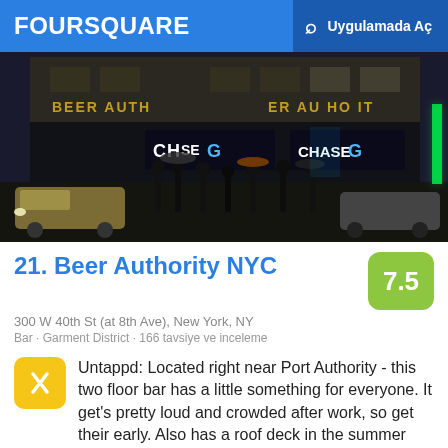FOURSQUARE  Uygulamada Aç
[Figure (photo): Nighttime street photo of Beer Authority NYC bar exterior with Chase bank storefront below, people with umbrellas on wet street, cars in foreground]
21. Beer Authority NYC
300 W 40th St (at 8th Ave), New York, NY
Bar · Garment District · 166 tavsiye ve inceleme
Untappd: Located right near Port Authority - this two floor bar has a little something for everyone. It get's pretty loud and crowded after work, so get their early. Also has a roof deck in the summer time!